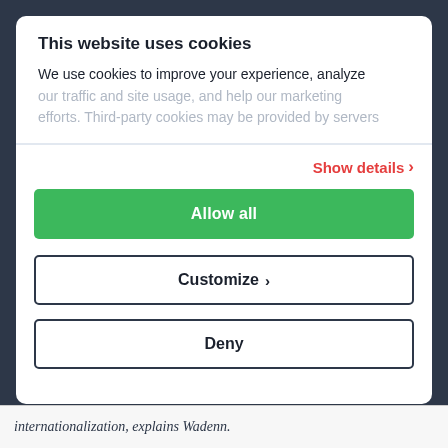This website uses cookies
We use cookies to improve your experience, analyze our traffic and site usage, and help our marketing efforts. Third-party cookies may be provided by servers
Show details >
Allow all
Customize >
Deny
internationalization, explains Wadenn.